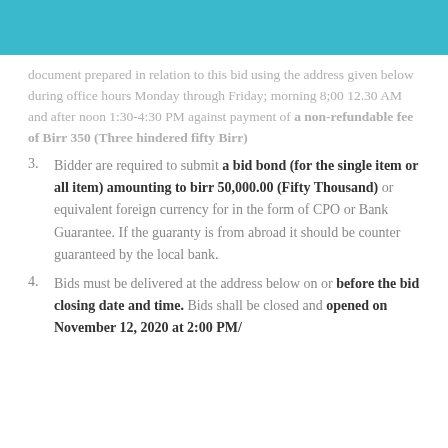document prepared in relation to this bid using the address given below during office hours Monday through Friday; morning 8;00 12.30 AM and after noon 1:30-4:30 PM against payment of a non-refundable fee of Birr 350 (Three hindered fifty Birr)
Bidder are required to submit a bid bond (for the single item or all item) amounting to birr 50,000.00 (Fifty Thousand) or equivalent foreign currency for in the form of CPO or Bank Guarantee. If the guaranty is from abroad it should be counter guaranteed by the local bank.
Bids must be delivered at the address below on or before the bid closing date and time. Bids shall be closed and opened on November 12, 2020 at 2:00 PM/